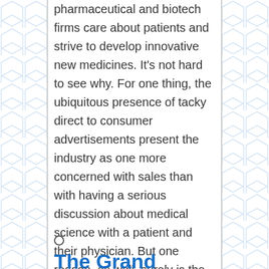pharmaceutical and biotech firms care about patients and strive to develop innovative new medicines. It's not hard to see why. For one thing, the ubiquitous presence of tacky direct to consumer advertisements present the industry as one more concerned with sales than with having a serious discussion about medical science with a patient and their physician. But one reason, as well, surely is the...
○
The Grand Unified Theory On The Economics Of Free...